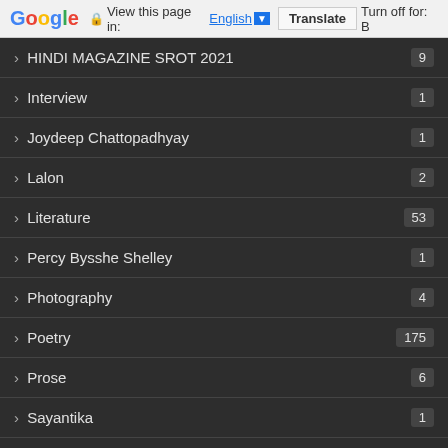Google | View this page in: English [▼] | Translate | Turn off for: B
› HINDI MAGAZINE SROT 2021  9
› Interview  1
› Joydeep Chattopadhyay  1
› Lalon  2
› Literature  53
› Percy Bysshe Shelley  1
› Photography  4
› Poetry  175
› Prose  6
› Sayantika  1
› Story  1
› Translation  4